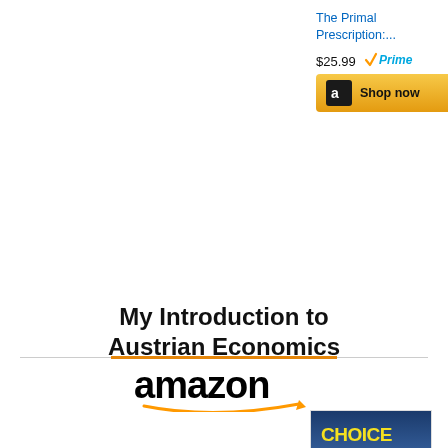The Primal Prescription:...
$25.99 Prime
[Figure (other): Amazon Shop now button]
Reply
My Introduction to Austrian Economics
[Figure (logo): Amazon logo with orange arrow]
[Figure (photo): Book cover: Choice: Cooperation, Enterprise, and Human Action by Robert P. Murphy]
Choice: Cooperation,...
$24.95 Prime
[Figure (other): Amazon Shop now button]